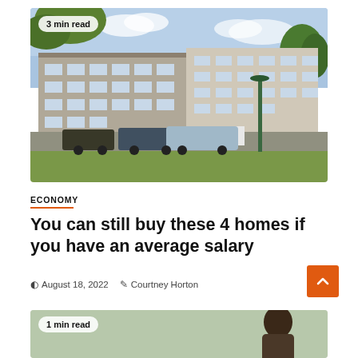[Figure (photo): Exterior photo of a multi-storey apartment block with cars parked in front, trees in foreground, sunny day with blue sky and clouds. Badge overlay reads '3 min read'.]
ECONOMY
You can still buy these 4 homes if you have an average salary
August 18, 2022  Courtney Horton
[Figure (photo): Partial photo of a person outdoors, cropped. Badge overlay reads '1 min read'.]